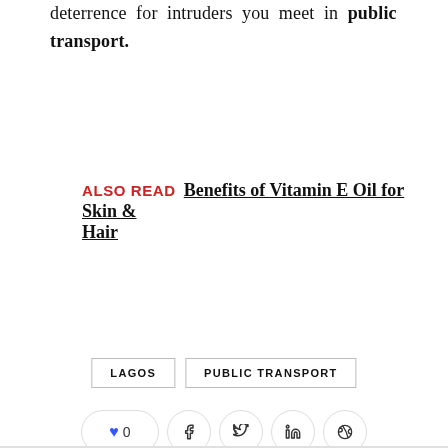deterrence for intruders you meet in public transport.
ALSO READ  Benefits of Vitamin E Oil for Skin & Hair
LAGOS  PUBLIC TRANSPORT
♥ 0  f  t  in  P